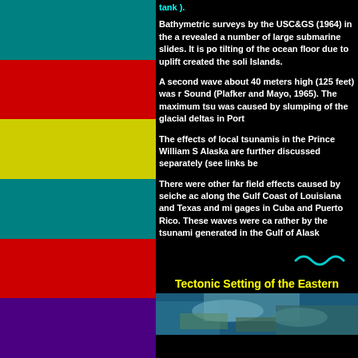tank ).
Bathymetric surveys by the USC&GS (1964) in the a revealed a number of large submarine slides. It is po tilting of the ocean floor due to uplift created the soli Islands.
A second wave about 40 meters high (125 feet) was r Sound (Plafker and Mayo, 1965). The maximum tsu was caused by slumping of the glacial deltas in Port
The effects of local tsunamis in the Prince William S Alaska are further discussed separately (see links be
There were other far field effects caused by seiche ac along the Gulf Coast of Louisiana and Texas and mi gages in Cuba and Puerto Rico. These waves were ca rather by the tsunami generated in the Gulf of Alask
[Figure (illustration): Decorative swirl/curl graphic in teal/cyan color]
Tectonic Setting of the Eastern
[Figure (map): Satellite/bathymetric map showing coastal/ocean region, teal and brown colors]